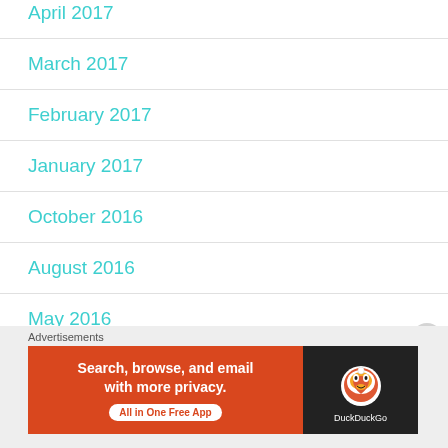April 2017
March 2017
February 2017
January 2017
October 2016
August 2016
May 2016
April 2016
Advertisements
[Figure (illustration): DuckDuckGo advertisement banner: orange background with text 'Search, browse, and email with more privacy. All in One Free App' and DuckDuckGo duck logo on dark background]